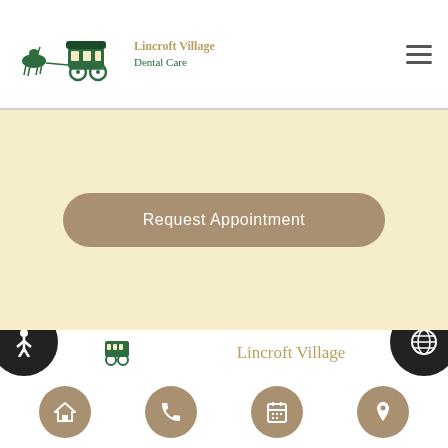[Figure (logo): Lincroft Village Dental Care logo with horse and carriage illustration in green, with text 'Lincroft Village' in gold and 'Dental Care' in green]
[Figure (other): Hamburger menu icon (three horizontal lines)]
Request Appointment
Comments or Suggestions?
Contact Us
[Figure (other): Footer navigation icons: home, phone, calendar, location pin — in tan rounded circles. Partial accessibility and globe icons visible on left and right edges. Partial Lincroft Village logo text visible above footer.]